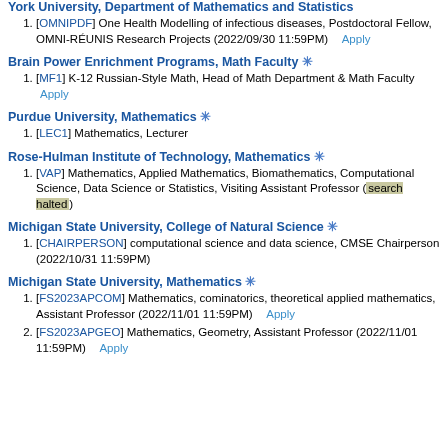York University, Department of Mathematics and Statistics
[OMNIPDF] One Health Modelling of infectious diseases, Postdoctoral Fellow, OMNI-RÉUNIS Research Projects (2022/09/30 11:59PM)   Apply
Brain Power Enrichment Programs, Math Faculty ✳
[MF1] K-12 Russian-Style Math, Head of Math Department & Math Faculty   Apply
Purdue University, Mathematics ✳
[LEC1] Mathematics, Lecturer
Rose-Hulman Institute of Technology, Mathematics ✳
[VAP] Mathematics, Applied Mathematics, Biomathematics, Computational Science, Data Science or Statistics, Visiting Assistant Professor (search halted)
Michigan State University, College of Natural Science ✳
[CHAIRPERSON] computational science and data science, CMSE Chairperson (2022/10/31 11:59PM)
Michigan State University, Mathematics ✳
[FS2023APCOM] Mathematics, cominatorics, theoretical applied mathematics, Assistant Professor (2022/11/01 11:59PM)   Apply
[FS2023APGEO] Mathematics, Geometry, Assistant Professor (2022/11/01 11:59PM)   Apply